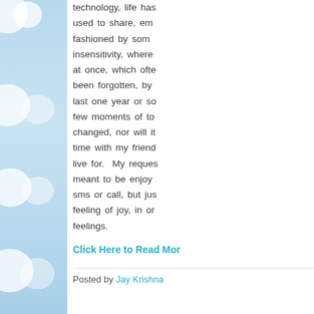[Figure (illustration): Decorative left panel with light blue sky background and white cloud shapes]
technology, life has used to share, em fashioned by som insensitivity, where at once, which ofte been forgotten, by last one year or so few moments of to changed, nor will it time with my friend live for. My reques meant to be enjoy sms or call, but jus feeling of joy, in or feelings.
Click Here to Read Mor
Posted by Jay Krishna